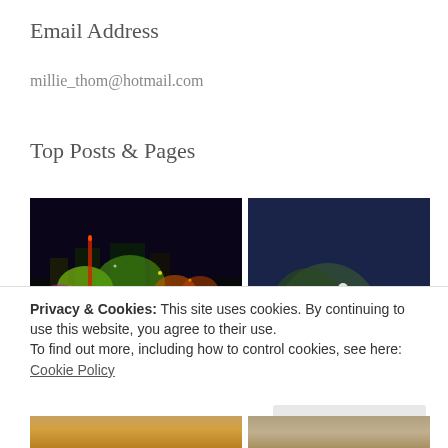Email Address
millie_thom@hotmail.com
Top Posts & Pages
[Figure (photo): Night cityscape with colorful illuminated buildings and lights reflected on water]
[Figure (photo): Dark navy background with white flowers and white cursive script text partially visible]
Privacy & Cookies: This site uses cookies. By continuing to use this website, you agree to their use.
To find out more, including how to control cookies, see here:
Cookie Policy
Close and accept
[Figure (photo): Bottom strip of food/pizza image partially visible]
[Figure (photo): Bottom strip of food image partially visible]